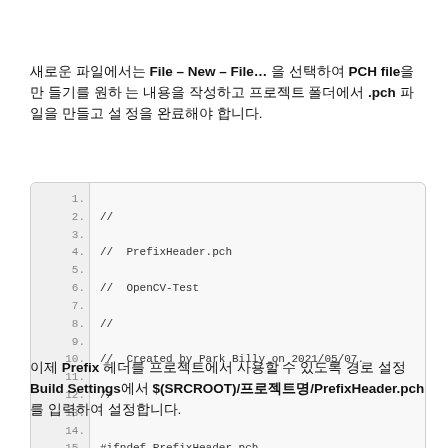새로운 파일에서는 File – New – File… 을 선택하여 PCH file을 만 들기를 원하 는 내용을 작성하고 프로젝트 폴더에서 .pch 파일을 만들고 설 정을 완료해야 합니다.
[Figure (screenshot): Code block showing PrefixHeader.pch file content with line numbers 1-15, including comments, #ifndef, #define, #ifdef __cplusplus, #include <opencv2/opencv.hpp>, #endif directives]
이제 Prefix 헤더를 프로젝트에서 사용할 수 있도록 경로 설정 Build Settings에서 $(SRCROOT)/프로젝트명/PrefixHeader.pch를 입력하여 설정합니다.